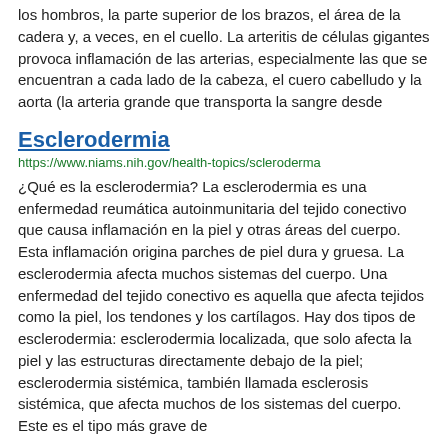los hombros, la parte superior de los brazos, el área de la cadera y, a veces, en el cuello. La arteritis de células gigantes provoca inflamación de las arterias, especialmente las que se encuentran a cada lado de la cabeza, el cuero cabelludo y la aorta (la arteria grande que transporta la sangre desde
Esclerodermia
https://www.niams.nih.gov/health-topics/scleroderma
¿Qué es la esclerodermia? La esclerodermia es una enfermedad reumática autoinmunitaria del tejido conectivo que causa inflamación en la piel y otras áreas del cuerpo. Esta inflamación origina parches de piel dura y gruesa. La esclerodermia afecta muchos sistemas del cuerpo. Una enfermedad del tejido conectivo es aquella que afecta tejidos como la piel, los tendones y los cartílagos. Hay dos tipos de esclerodermia: esclerodermia localizada, que solo afecta la piel y las estructuras directamente debajo de la piel; esclerodermia sistémica, también llamada esclerosis sistémica, que afecta muchos de los sistemas del cuerpo. Este es el tipo más grave de
Fibromialgia
https://www.niams.nih.gov/health-topics/fibromyalgia